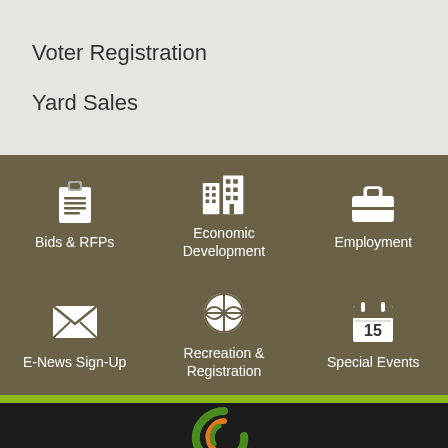Voter Registration
Yard Sales
[Figure (infographic): Government services navigation grid with 6 items on olive/brown background: Bids & RFPs (clipboard icon), Economic Development (buildings icon), Employment (briefcase icon), E-News Sign-Up (envelope icon), Recreation & Registration (basketball icon), Special Events (calendar icon)]
[Figure (logo): Partial logo visible at bottom on dark background - stylized green and orange swirl design]